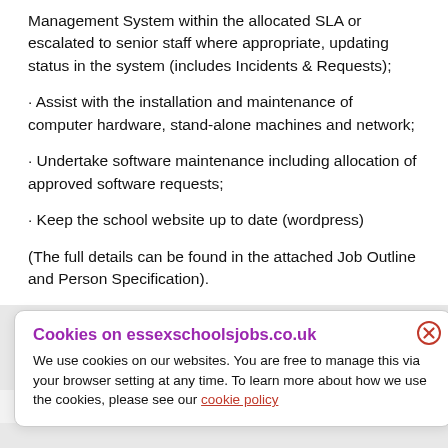Management System within the allocated SLA or escalated to senior staff where appropriate, updating status in the system (includes Incidents & Requests);
· Assist with the installation and maintenance of computer hardware, stand-alone machines and network;
· Undertake software maintenance including allocation of approved software requests;
· Keep the school website up to date (wordpress)
(The full details can be found in the attached Job Outline and Person Specification).
We're looking for you if you have:
Cookies on essexschoolsjobs.co.uk
We use cookies on our websites. You are free to manage this via your browser setting at any time. To learn more about how we use the cookies, please see our cookie policy